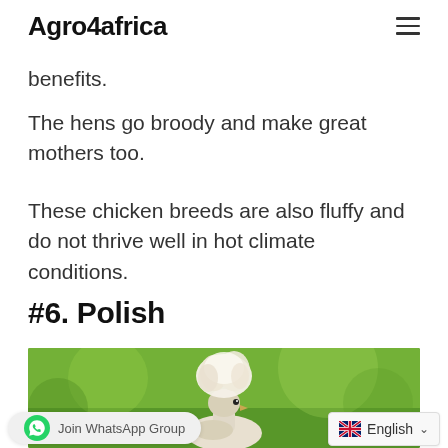Agro4africa
benefits.
The hens go broody and make great mothers too.
These chicken breeds are also fluffy and do not thrive well in hot climate conditions.
#6. Polish
[Figure (photo): A white Polish chicken with a large fluffy crest on its head, photographed against a blurred green background.]